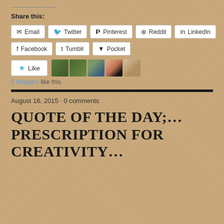Share this:
[Figure (infographic): Social sharing buttons: Email, Twitter, Pinterest, Reddit, LinkedIn, Facebook, Tumblr, Pocket]
[Figure (infographic): Like button with star icon and 5 blogger avatar thumbnails. Text: '5 bloggers like this.']
August 16, 2015 · 0 comments
QUOTE OF THE DAY;… PRESCRIPTION FOR CREATIVITY…